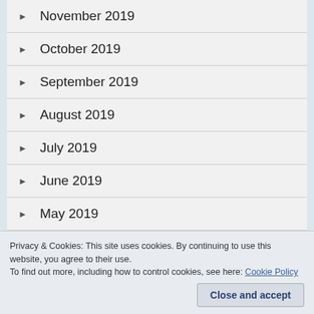November 2019
October 2019
September 2019
August 2019
July 2019
June 2019
May 2019
April 2019
January 2019
Privacy & Cookies: This site uses cookies. By continuing to use this website, you agree to their use.
To find out more, including how to control cookies, see here: Cookie Policy
Close and accept